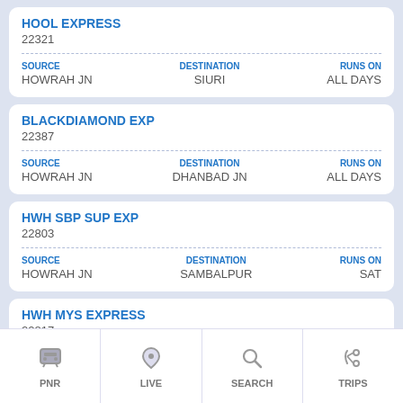HOOL EXPRESS
22321
| SOURCE | DESTINATION | RUNS ON |
| --- | --- | --- |
| HOWRAH JN | SIURI | ALL DAYS |
BLACKDIAMOND EXP
22387
| SOURCE | DESTINATION | RUNS ON |
| --- | --- | --- |
| HOWRAH JN | DHANBAD JN | ALL DAYS |
HWH SBP SUP EXP
22803
| SOURCE | DESTINATION | RUNS ON |
| --- | --- | --- |
| HOWRAH JN | SAMBALPUR | SAT |
HWH MYS EXPRESS
22817
PNR  LIVE  SEARCH  TRIPS